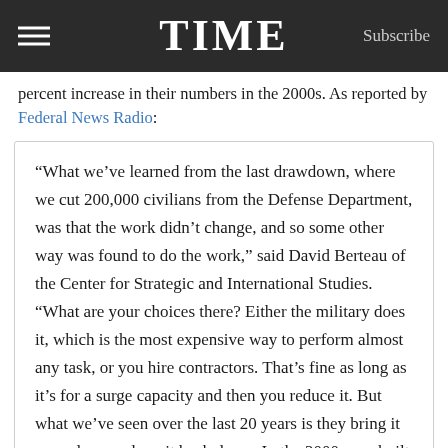TIME  Subscribe
percent increase in their numbers in the 2000s. As reported by Federal News Radio:
“What we’ve learned from the last drawdown, where we cut 200,000 civilians from the Defense Department, was that the work didn’t change, and so some other way was found to do the work,” said David Berteau of the Center for Strategic and International Studies. “What are your choices there? Either the military does it, which is the most expensive way to perform almost any task, or you hire contractors. That’s fine as long as it’s for a surge capacity and then you reduce it. But what we’ve seen over the last 20 years is they bring it up and never draw it back down. In the 2000s, we built up the